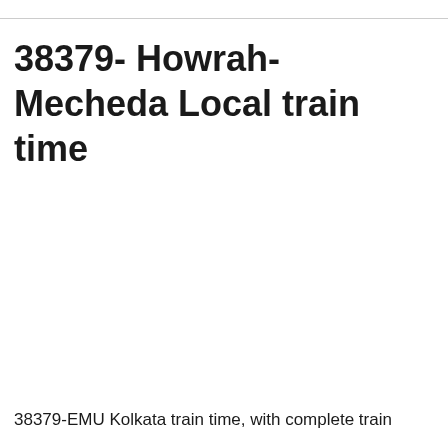38379- Howrah-Mecheda Local train time
38379-EMU Kolkata train time, with complete train